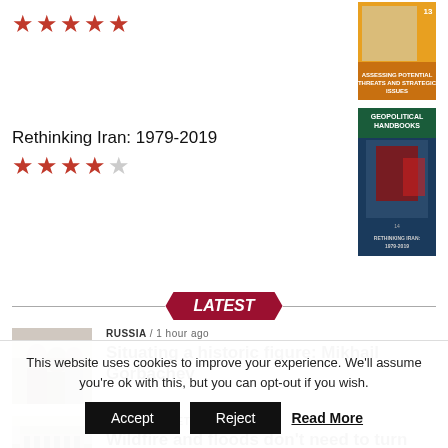[Figure (other): Five red star rating icons (full stars)]
[Figure (illustration): Book cover - orange/tan colored book about threats and strategic issues]
Rethinking Iran: 1979-2019
[Figure (other): Four red star rating icons and one empty star]
[Figure (illustration): Book cover - Rethinking Iran 1979-2019, featuring image of Khomeini]
LATEST
[Figure (photo): News thumbnail photo of people in formal attire, appears to be political meeting]
RUSSIA / 1 hour ago
Situating a historic figure: Mikhail Gorbachev
[Figure (photo): News thumbnail photo of a white building, possibly government building]
GREEN PLANET / 3 hours ago
Wildfire and floods don't need to turn into
This website uses cookies to improve your experience. We'll assume you're ok with this, but you can opt-out if you wish.